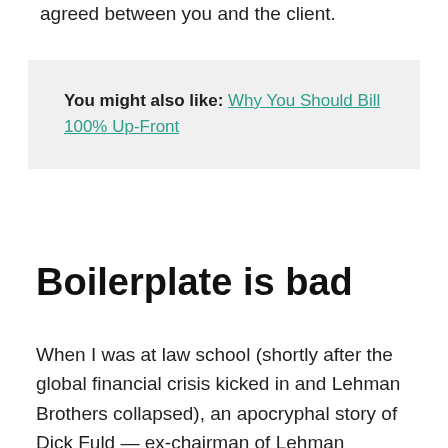agreed between you and the client.
You might also like: Why You Should Bill 100% Up-Front
Boilerplate is bad
When I was at law school (shortly after the global financial crisis kicked in and Lehman Brothers collapsed), an apocryphal story of Dick Fuld — ex-chairman of Lehman Brothers and formerly an internal problem solver at the